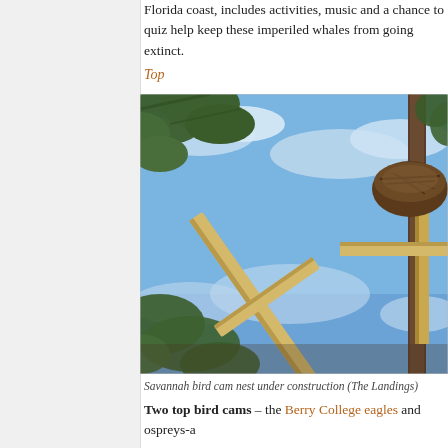Florida coast, includes activities, music and a chance to quiz help keep these imperiled whales from going extinct.
Top
[Figure (photo): Photograph of a bird nest under construction on a pine tree with wooden support structure (cross-shaped wooden beams), blue sky and clouds in background. The nest is positioned high on the pine tree branches.]
Savannah bird cam nest under construction (The Landings)
Two top bird cams – the Berry College eagles and ospreys-a